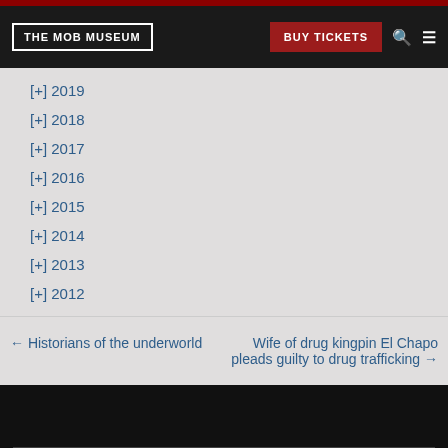THE MOB MUSEUM | BUY TICKETS
[+] 2019
[+] 2018
[+] 2017
[+] 2016
[+] 2015
[+] 2014
[+] 2013
[+] 2012
← Historians of the underworld
Wife of drug kingpin El Chapo pleads guilty to drug trafficking →